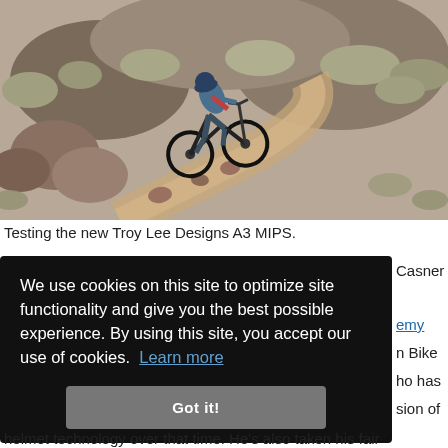[Figure (photo): A mountain biker in blue/grey gear and helmet riding aggressively on a rocky dirt trail, surrounded by scrubby desert vegetation and rocky terrain. The rider is leaning into a turn on the trail.]
Testing the new Troy Lee Designs A3 MIPS.
We use cookies on this site to optimize site functionality and give you the best possible experience. By using this site, you accept our use of cookies. Learn more
Got it!
Casner
emy
n Bike
ho has
sion of
helmet technology over that time. He's also taken his fair